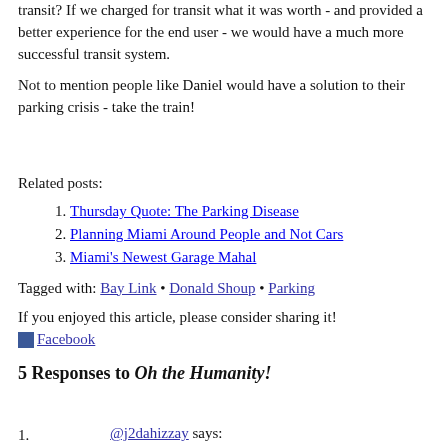transit?  If we charged for transit what it was worth - and provided a better experience for the end user - we would have a much more successful transit system.
Not to mention people like Daniel would have a solution to their parking crisis - take the train!
Related posts:
Thursday Quote: The Parking Disease
Planning Miami Around People and Not Cars
Miami's Newest Garage Mahal
Tagged with: Bay Link • Donald Shoup • Parking
If you enjoyed this article, please consider sharing it!
Facebook
5 Responses to Oh the Humanity!
@j2dahizzay says: